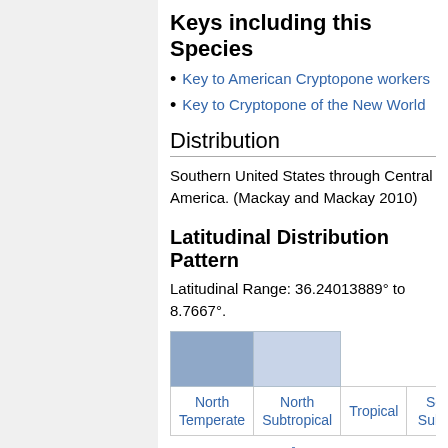Keys including this Species
Key to American Cryptopone workers
Key to Cryptopone of the New World
Distribution
Southern United States through Central America. (Mackay and Mackay 2010)
Latitudinal Distribution Pattern
Latitudinal Range: 36.24013889° to 8.7667°.
| North Temperate | North Subtropical | Tropical | South Subtropical |
| --- | --- | --- | --- |
Source: AntMaps